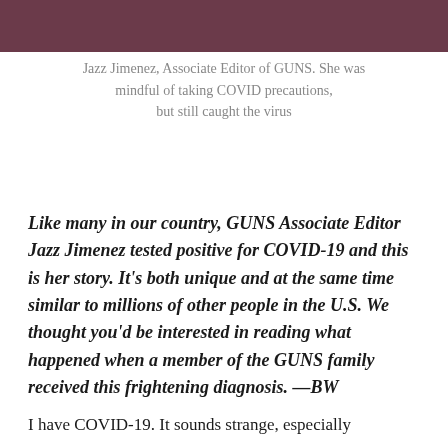[Figure (photo): Partial photo of Jazz Jimenez, showing part of her face/body against a purple-toned background]
Jazz Jimenez, Associate Editor of GUNS. She was mindful of taking COVID precautions, but still caught the virus
Like many in our country, GUNS Associate Editor Jazz Jimenez tested positive for COVID-19 and this is her story. It’s both unique and at the same time similar to millions of other people in the U.S. We thought you’d be interested in reading what happened when a member of the GUNS family received this frightening diagnosis. —BW
I have COVID-19. It sounds strange, especially